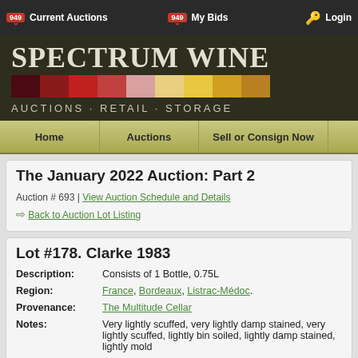949 Current Auctions | 949 My Bids | Login
[Figure (logo): Spectrum Wine logo with color swatches (dark maroon to gold) and tagline AUCTIONS · RETAIL · STORAGE on dark olive/brown background]
Home | Auctions | Sell or Consign Now
The January 2022 Auction: Part 2
Auction # 693 | View Auction Schedule and Details
⇐ Back to Auction Lot Listing
Lot #178. Clarke 1983
| Field | Value |
| --- | --- |
| Description: | Consists of 1 Bottle, 0.75L |
| Region: | France, Bordeaux, Listrac-Médoc. |
| Provenance: | The Multitude Cellar |
| Notes: | Very lightly scuffed, very lightly damp stained, very lightly scuffed, lightly bin soiled, lightly damp stained, lightly mold |